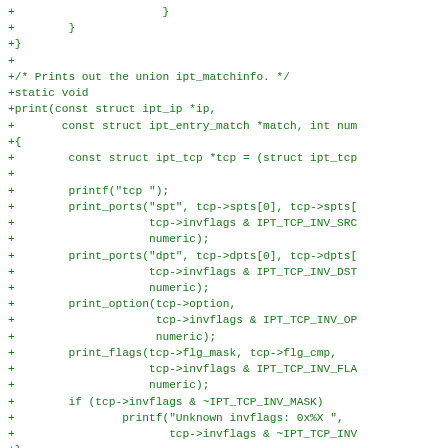+                      }
+        }
+}
+
+/* Prints out the union ipt_matchinfo. */
+static void
+print(const struct ipt_ip *ip,
+       const struct ipt_entry_match *match, int num
+{
+        const struct ipt_tcp *tcp = (struct ipt_tcp
+
+        printf("tcp ");
+        print_ports("spt", tcp->spts[0], tcp->spts[
+                    tcp->invflags & IPT_TCP_INV_SRC
+                    numeric);
+        print_ports("dpt", tcp->dpts[0], tcp->dpts[
+                    tcp->invflags & IPT_TCP_INV_DST
+                    numeric);
+        print_option(tcp->option,
+                     tcp->invflags & IPT_TCP_INV_OP
+                     numeric);
+        print_flags(tcp->flg_mask, tcp->flg_cmp,
+                    tcp->invflags & IPT_TCP_INV_FLA
+                    numeric);
+        if (tcp->invflags & ~IPT_TCP_INV_MASK)
+                printf("Unknown invflags: 0x%X ",
+                       tcp->invflags & ~IPT_TCP_INV
+}
+
+/* Saves the union ipt_matchinfo in parsable form